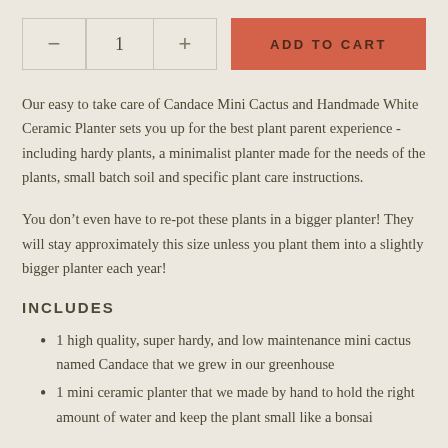[Figure (screenshot): Quantity selector with minus and plus buttons showing value 1, and an orange Add to Cart button]
Our easy to take care of Candace Mini Cactus and Handmade White Ceramic Planter sets you up for the best plant parent experience - including hardy plants, a minimalist planter made for the needs of the plants, small batch soil and specific plant care instructions.
You don’t even have to re-pot these plants in a bigger planter! They will stay approximately this size unless you plant them into a slightly bigger planter each year!
INCLUDES
1 high quality, super hardy, and low maintenance mini cactus named Candace that we grew in our greenhouse
1 mini ceramic planter that we made by hand to hold the right amount of water and keep the plant small like a bonsai